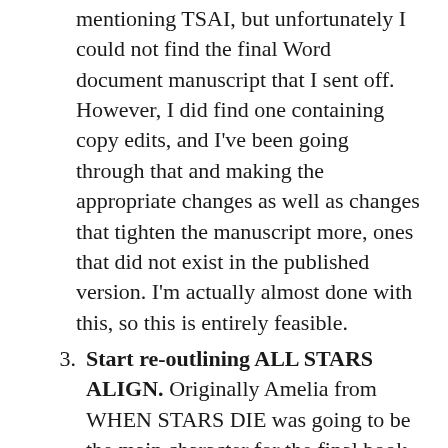mentioning TSAI, but unfortunately I could not find the final Word document manuscript that I sent off. However, I did find one containing copy edits, and I've been going through that and making the appropriate changes as well as changes that tighten the manuscript more, ones that did not exist in the published version. I'm actually almost done with this, so this is entirely feasible.
Start re-outlining ALL STARS ALIGN. Originally Amelia from WHEN STARS DIE was going to be the main character for the final book in THE STARS TRILOGY, but I did write out an entire draft using her perspective, and she